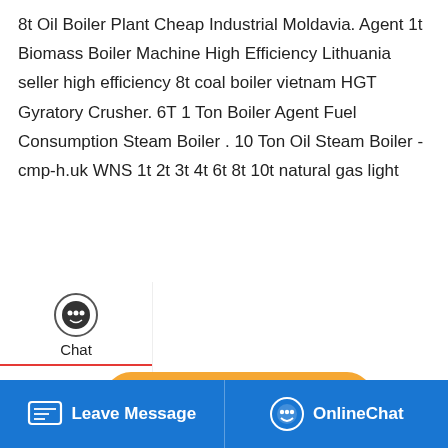8t Oil Boiler Plant Cheap Industrial Moldavia. Agent 1t Biomass Boiler Machine High Efficiency Lithuania seller high efficiency 8t coal boiler vietnam HGT Gyratory Crusher. 6T 1 Ton Boiler Agent Fuel Consumption Steam Boiler . 10 Ton Oil Steam Boiler - cmp-h.uk WNS 1t 2t 3t 4t 6t 8t 10t natural gas light
[Figure (screenshot): Website UI with sidebar icons for Chat, Email, Contact, a Get a Quote button, a boiler industrial machine photo, WhatsApp sticker popup, and a blue bottom navigation bar with Leave Message and OnlineChat.]